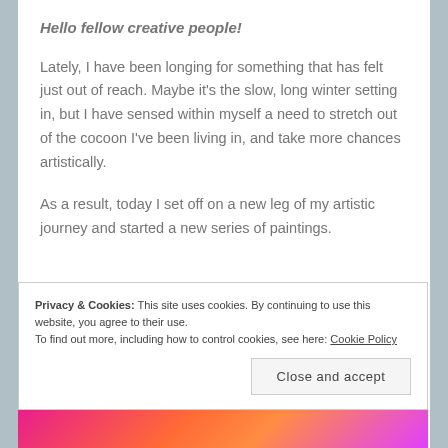Hello fellow creative people!
Lately, I have been longing for something that has felt just out of reach. Maybe it's the slow, long winter setting in, but I have sensed within myself a need to stretch out of the cocoon I've been living in, and take more chances artistically.
As a result, today I set off on a new leg of my artistic journey and started a new series of paintings.
Privacy & Cookies: This site uses cookies. By continuing to use this website, you agree to their use.
To find out more, including how to control cookies, see here: Cookie Policy
Close and accept